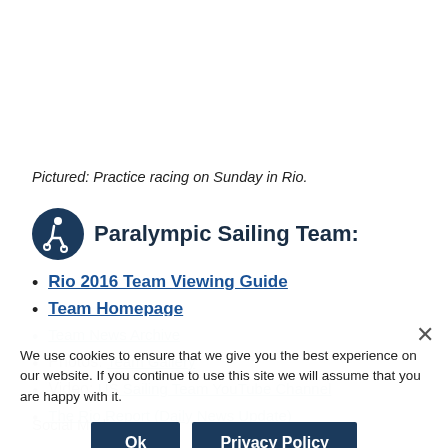Pictured: Practice racing on Sunday in Rio.
Paralympic Sailing Team:
Rio 2016 Team Viewing Guide
Team Homepage
Team News Archive
Photos: Team Gallery
Video: US Sailing Team YouTube Channel
The Rio Report (Daily News Update)
We use cookies to ensure that we give you the best experience on our website. If you continue to use this site we will assume that you are happy with it.
Social Media: